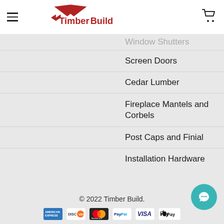TimberBuild
Window Shutters
Screen Doors
Cedar Lumber
Fireplace Mantels and Corbels
Post Caps and Finial
Installation Hardware
Custom Products
© 2022 Timber Build.